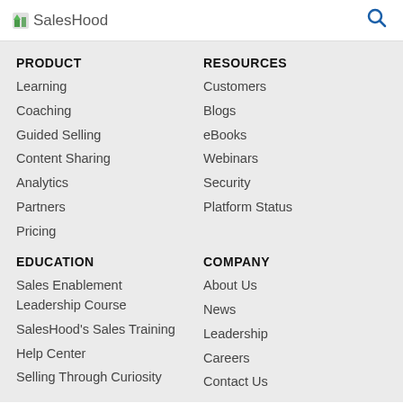SalesHood
PRODUCT
Learning
Coaching
Guided Selling
Content Sharing
Analytics
Partners
Pricing
RESOURCES
Customers
Blogs
eBooks
Webinars
Security
Platform Status
EDUCATION
Sales Enablement Leadership Course
SalesHood's Sales Training
Help Center
Selling Through Curiosity
COMPANY
About Us
News
Leadership
Careers
Contact Us